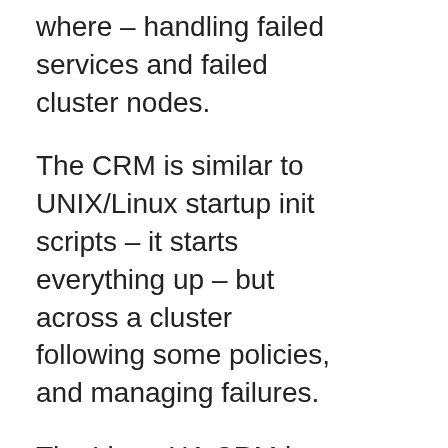where – handling failed services and failed cluster nodes.
The CRM is similar to UNIX/Linux startup init scripts – it starts everything up – but across a cluster following some policies, and managing failures.
The Linux-HA CRM is